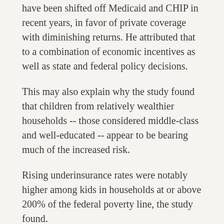have been shifted off Medicaid and CHIP in recent years, in favor of private coverage with diminishing returns. He attributed that to a combination of economic incentives as well as state and federal policy decisions.
This may also explain why the study found that children from relatively wealthier households -- those considered middle-class and well-educated -- appear to be bearing much of the increased risk.
Rising underinsurance rates were notably higher among kids in households at or above 200% of the federal poverty line, the study found.
To address the problem, major policy reforms must be considered, Yu said.
"This includes further expanding Medicaid eligibility criteria for children, expanding Social Security income financial assistance for families of children with